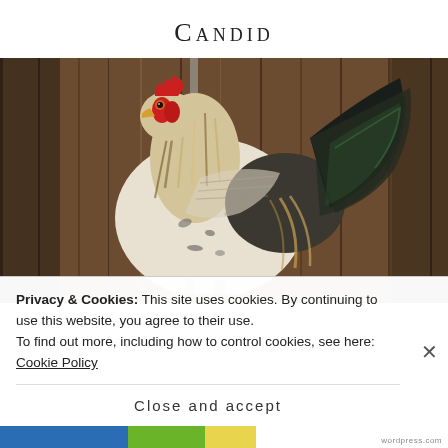Candid
[Figure (photo): A rooster with red comb, white and black speckled body, and dark iridescent tail feathers, standing in profile against a wooden plank background.]
Privacy & Cookies: This site uses cookies. By continuing to use this website, you agree to their use.
To find out more, including how to control cookies, see here: Cookie Policy
Close and accept